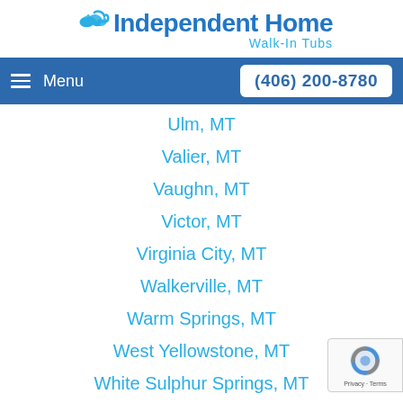[Figure (logo): Independent Home Walk-In Tubs logo with blue wave icon and text]
Menu  (406) 200-8780
Ulm, MT
Valier, MT
Vaughn, MT
Victor, MT
Virginia City, MT
Walkerville, MT
Warm Springs, MT
West Yellowstone, MT
White Sulphur Springs, MT
Whitehall, MT